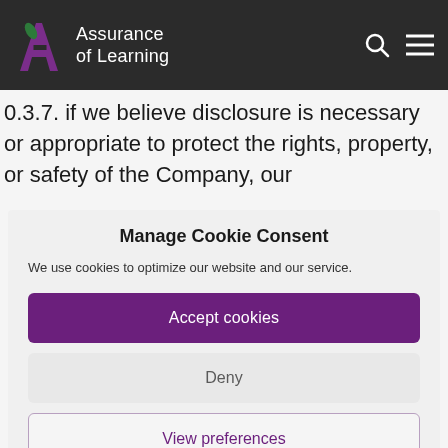Assurance of Learning
0.3.7. if we believe disclosure is necessary or appropriate to protect the rights, property, or safety of the Company, our
Manage Cookie Consent
We use cookies to optimize our website and our service.
Accept cookies
Deny
View preferences